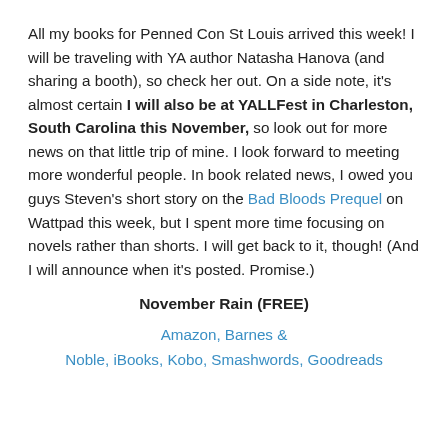All my books for Penned Con St Louis arrived this week! I will be traveling with YA author Natasha Hanova (and sharing a booth), so check her out. On a side note, it's almost certain I will also be at YALLFest in Charleston, South Carolina this November, so look out for more news on that little trip of mine. I look forward to meeting more wonderful people. In book related news, I owed you guys Steven's short story on the Bad Bloods Prequel on Wattpad this week, but I spent more time focusing on novels rather than shorts. I will get back to it, though! (And I will announce when it's posted. Promise.)
November Rain (FREE)
Amazon, Barnes & Noble, iBooks, Kobo, Smashwords, Goodreads